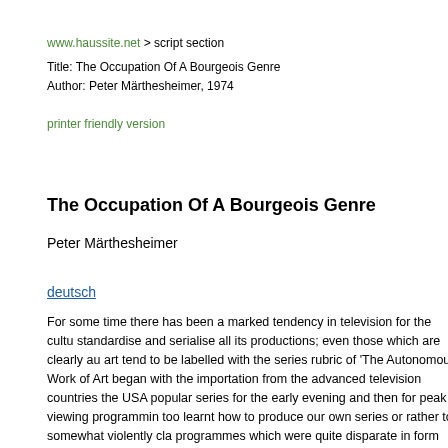www.haussite.net > script section
Title: The Occupation Of A Bourgeois Genre
Author: Peter Märthesheimer, 1974
printer friendly version
The Occupation Of A Bourgeois Genre
Peter Märthesheimer
deutsch
For some time there has been a marked tendency in television for the cultu standardise and serialise all its productions; even those which are clearly au art tend to be labelled with the series rubric of 'The Autonomous Work of Art began with the importation from the advanced television countries the USA popular series for the early evening and then for peak - viewing programmin too learnt how to produce our own series or rather to somewhat violently cla programmes which were quite disparate in form and content with common la film', 'The studio film', 'The Monday play', or even for example'The Scene of reasons for this are only partly to be found on the production side, the produ relatively more economical than the production of plays. In the first place the the West, which plays a in import distribution, high quality products